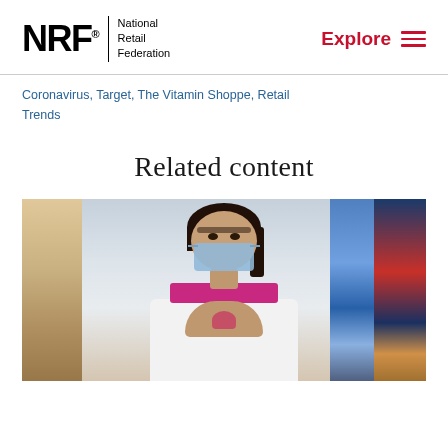NRF National Retail Federation | Explore
Coronavirus, Target, The Vitamin Shoppe, Retail Trends
Related content
[Figure (photo): A pharmacy worker or retail health employee wearing a white lab coat and a blue surgical mask, making a heart shape with her hands. She is standing in a retail/pharmacy store with product shelves visible in the background.]